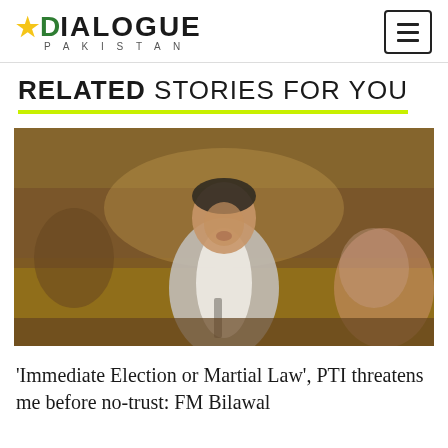DIALOGUE PAKISTAN
RELATED STORIES FOR YOU
[Figure (photo): A man in a light grey suit speaking at what appears to be a parliamentary session, with other people visible in the blurred background.]
'Immediate Election or Martial Law', PTI threatens me before no-trust: FM Bilawal